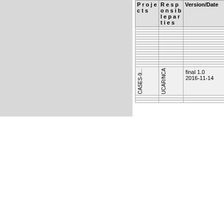[Figure (other): Gray placeholder image/graphic in upper left area of page]
| Projects | Responsible parties | Version/Date |
| --- | --- | --- |
| CASES-9... | UCAR/NCA | final 1.0
2016-11-14 |